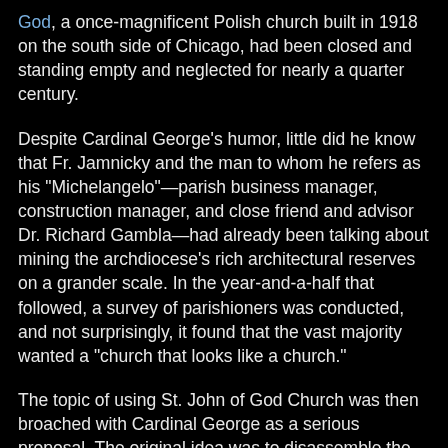God, a once-magnificent Polish church built in 1918 on the south side of Chicago, had been closed and standing empty and neglected for nearly a quarter century.
Despite Cardinal George's humor, little did he know that Fr. Jamnicky and the man to whom he refers as his “Michelangelo”—parish business manager, construction manager, and close friend and advisor Dr. Richard Gambla—had already been talking about mining the archdiocese’s rich architectural reserves on a grander scale. In the year-and-a-half that followed, a survey of parishioners was conducted, and not surprisingly, it found that the vast majority wanted a “church that looks like a church.”
The topic of using St. John of God Church was then broached with Cardinal George as a serious proposal. The original idea was to disassemble the entire building and reconstruct it at a new location. However, it was found to be such a structural disaster upon further inspection, that the idea of reusing the whole thing was shelved. Instead, it was decided that only the prime salvageable elements would be used: the facade, twin bell towers, doors, hardware and four